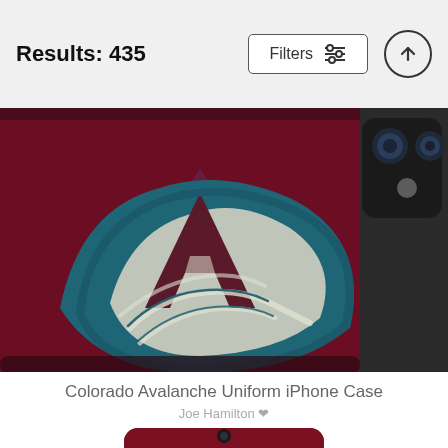Results: 435
[Figure (screenshot): Filters button with sliders icon and up-arrow circle button in header bar]
[Figure (photo): Colorado Avalanche uniform iPhone case showing dark red/maroon background with the Avalanche logo (teal and white avalanche/mountain design), and a partial view of an actual iPhone on the right side showing phone camera module]
Colorado Avalanche Uniform iPhone Case
Joe Hamilton ♡
$27
[Figure (photo): Partial view of another product (bottom of page) showing a dark maroon iPhone case with camera cutout]